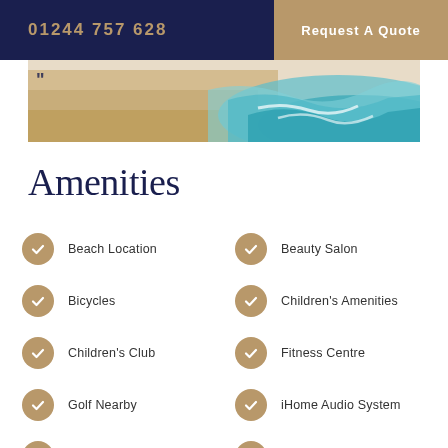01244 757 628 | Request A Quote
[Figure (photo): Aerial view of a beach with sand and turquoise ocean waves]
Amenities
Beach Location
Beauty Salon
Bicycles
Children's Amenities
Children's Club
Fitness Centre
Golf Nearby
iHome Audio System
Sauna
Spa